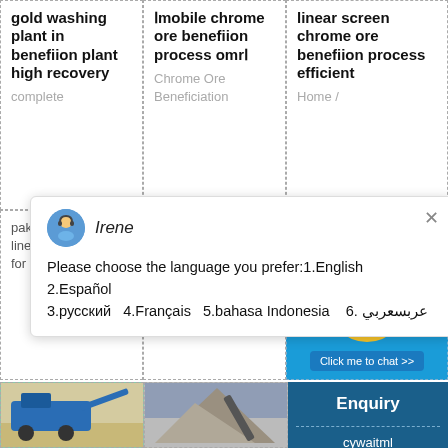gold washing plant in benefiion plant high recovery
complete
ⅠMobile chrome ore benefiion process omrⅠ
Chrome Ore Beneficiation
linear screen chrome ore benefiion process efficient
Home /
Irene
Please choose the language you prefer:1.English  2.Español  3.русский  4.Français  5.bahasa Indonesia   6. عربسعربي
pakistan; linear screen for tin ore high
Crushing Equipment . Chrome ore
[Figure (photo): Blue mining/crushing machine on sandy ground]
[Figure (photo): Pile of crushed stone/gravel with conveyor belt in background, cloudy sky]
Enquiry
cywaitml @gmail.com
[Figure (screenshot): Chat widget with smiley face and notification badge showing 1, with Click me to chat button]